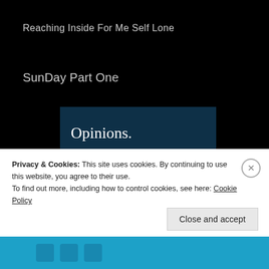Reaching Inside For Me Self Lone
SunDay Part One
[Figure (screenshot): Advertisement banner with dark teal background showing text 'Opinions. We all have them!' with a pink 'Start a survey' button and a circular logo in the bottom right corner.]
Privacy & Cookies: This site uses cookies. By continuing to use this website, you agree to their use.
To find out more, including how to control cookies, see here: Cookie Policy
Close and accept